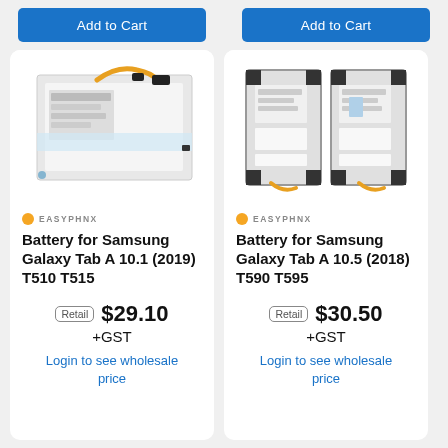Add to Cart
Add to Cart
[Figure (photo): Battery for Samsung Galaxy Tab A 10.1 (2019) T510 T515 product photo showing battery component with orange flex cable]
EASYPHNX
Battery for Samsung Galaxy Tab A 10.1 (2019) T510 T515
Retail $29.10 +GST
Login to see wholesale price
[Figure (photo): Battery for Samsung Galaxy Tab A 10.5 (2018) T590 T595 product photo showing two battery components side by side]
EASYPHNX
Battery for Samsung Galaxy Tab A 10.5 (2018) T590 T595
Retail $30.50 +GST
Login to see wholesale price